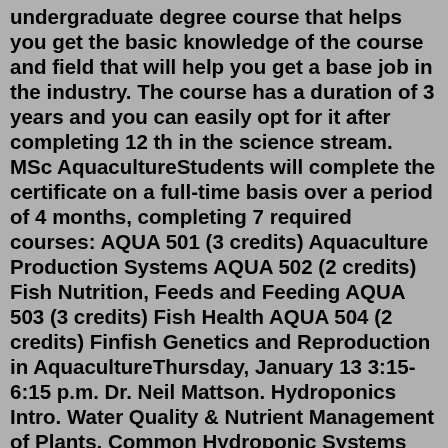undergraduate degree course that helps you get the basic knowledge of the course and field that will help you get a base job in the industry. The course has a duration of 3 years and you can easily opt for it after completing 12 th in the science stream. MSc AquacultureStudents will complete the certificate on a full-time basis over a period of 4 months, completing 7 required courses: AQUA 501 (3 credits) Aquaculture Production Systems AQUA 502 (2 credits) Fish Nutrition, Feeds and Feeding AQUA 503 (3 credits) Fish Health AQUA 504 (2 credits) Finfish Genetics and Reproduction in AquacultureThursday, January 13 3:15-6:15 p.m. Dr. Neil Mattson. Hydroponics Intro. Water Quality & Nutrient Management of Plants. Common Hydroponic Systems (Deep Water Culture, NFT, Media Bed, Vertical Grow beds) Dr. Michael Timmons. Putting the two together: Aquaponics.This course is an introductory course designed to provide an overview of the field of aquaculture and the common groups cultured in the United States. It is designed for undergraduate and